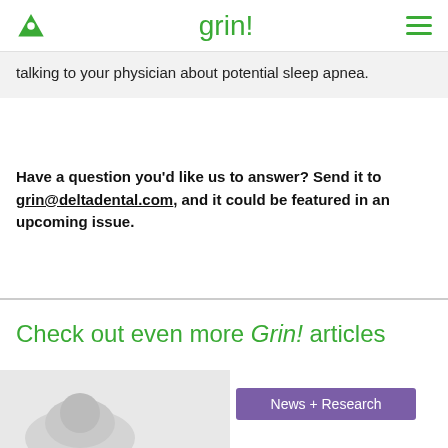grin!
talking to your physician about potential sleep apnea.
Have a question you’d like us to answer? Send it to grin@deltadental.com, and it could be featured in an upcoming issue.
Check out even more Grin! articles
[Figure (other): Button/badge labeled News + Research in purple]
[Figure (photo): Partial image at bottom left, appears to show a dental/health related illustration]